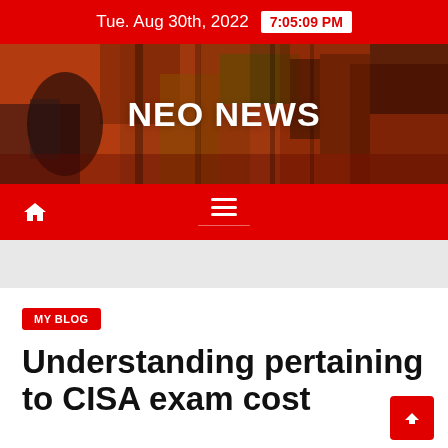Tue. Aug 30th, 2022  7:05:09 PM
[Figure (illustration): NEO NEWS website banner with abstract orange-red painted background and white bold text 'NEO NEWS']
NEO NEWS
Navigation bar with home icon and hamburger menu
MY BLOG
Understanding pertaining to CISA exam cost